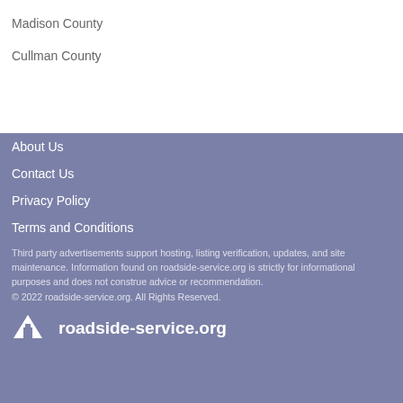Madison County
Cullman County
About Us
Contact Us
Privacy Policy
Terms and Conditions
Third party advertisements support hosting, listing verification, updates, and site maintenance. Information found on roadside-service.org is strictly for informational purposes and does not construe advice or recommendation.
© 2022 roadside-service.org. All Rights Reserved.
roadside-service.org